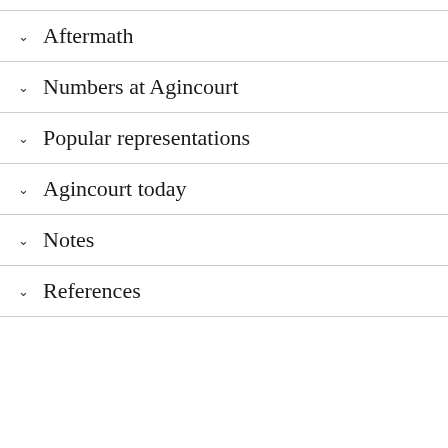Aftermath
Numbers at Agincourt
Popular representations
Agincourt today
Notes
References